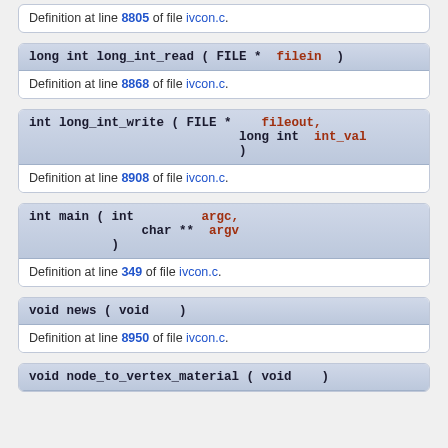Definition at line 8805 of file ivcon.c.
long int long_int_read ( FILE *  filein  )
Definition at line 8868 of file ivcon.c.
int long_int_write ( FILE *  fileout,
                     long int  int_val
                   )
Definition at line 8908 of file ivcon.c.
int main ( int  argc,
           char **  argv
         )
Definition at line 349 of file ivcon.c.
void news ( void  )
Definition at line 8950 of file ivcon.c.
void node_to_vertex_material ( void  )